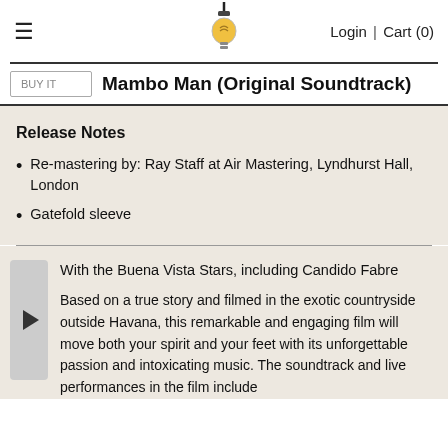≡  [lightbulb logo]  Login | Cart (0)
Mambo Man (Original Soundtrack)
Release Notes
Re-mastering by: Ray Staff at Air Mastering, Lyndhurst Hall, London
Gatefold sleeve
With the Buena Vista Stars, including Candido Fabre
Based on a true story and filmed in the exotic countryside outside Havana, this remarkable and engaging film will move both your spirit and your feet with its unforgettable passion and intoxicating music. The soundtrack and live performances in the film include